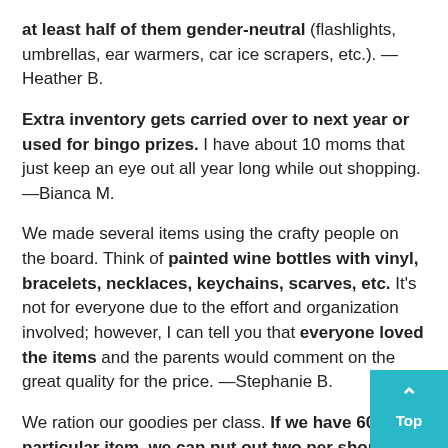at least half of them gender-neutral (flashlights, umbrellas, ear warmers, car ice scrapers, etc.). —Heather B.
Extra inventory gets carried over to next year or used for bingo prizes. I have about 10 moms that just keep an eye out all year long while out shopping. —Bianca M.
We made several items using the crafty people on the board. Think of painted wine bottles with vinyl, bracelets, necklaces, keychains, scarves, etc. It's not for everyone due to the effort and organization involved; however, I can tell you that everyone loved the items and the parents would comment on the great quality for the price. —Stephanie B.
We ration our goodies per class. If we have 60 of a particular item, we can put out two per shopping session (we have 30 classes). This allows for all kiddo have a chance to buy "the good stuff" in every class instead of a class or two wiping us out. —Sarah L.